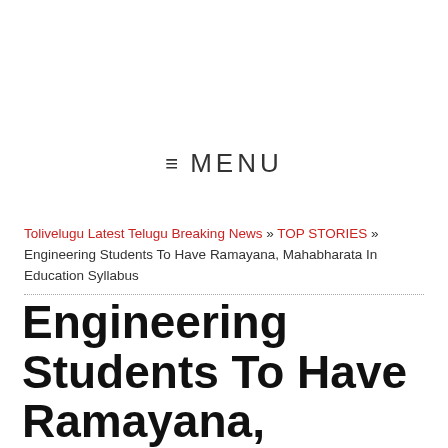≡ MENU
Tolivelugu Latest Telugu Breaking News » TOP STORIES » Engineering Students To Have Ramayana, Mahabharata In Education Syllabus
Engineering Students To Have Ramayana, Mahabharata In Education Syllabus